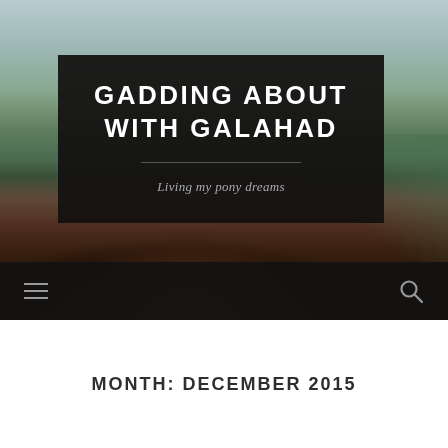[Figure (photo): Outdoor photo of a pony/horse with brown mane in the foreground, green fields and pale sky in the background. Used as hero banner image for a blog.]
GADDING ABOUT WITH GALAHAD
Living my pony dreams
Navigation bar with hamburger menu icon and search icon
MONTH: DECEMBER 2015